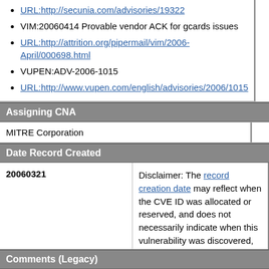URL:http://secunia.com/advisories/19322
VIM:20060414 Provable vendor ACK for gcards issues
URL:http://attrition.org/pipermail/vim/2006-April/000698.html
VUPEN:ADV-2006-1015
URL:http://www.vupen.com/english/advisories/2006/1015
Assigning CNA
MITRE Corporation
Date Record Created
| Date | Disclaimer |
| --- | --- |
| 20060321 | Disclaimer: The record creation date may reflect when the CVE ID was allocated or reserved, and does not necessarily indicate when this vulnerability was discovered, shared with the affected vendor, publicly disclosed, or updated in CVE. |
Phase (Legacy)
Assigned (20060321)
Votes (Legacy)
Comments (Legacy)